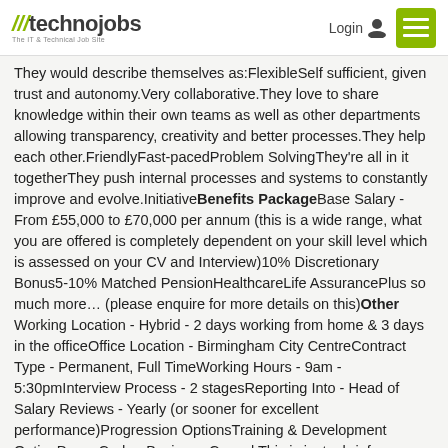technojobs — The IT & Technical Job Site | Login | Menu
They would describe themselves as:FlexibleSelf sufficient, given trust and autonomy.Very collaborative.They love to share knowledge within their own teams as well as other departments allowing transparency, creativity and better processes.They help each other.FriendlyFast-pacedProblem SolvingThey're all in it togetherThey push internal processes and systems to constantly improve and evolve.InitiativeBenefits PackageBase Salary - From £55,000 to £70,000 per annum (this is a wide range, what you are offered is completely dependent on your skill level which is assessed on your CV and Interview)10% Discretionary Bonus5-10% Matched PensionHealthcareLife AssurancePlus so much more… (please enquire for more details on this)Other Working Location - Hybrid - 2 days working from home & 3 days in the officeOffice Location - Birmingham City CentreContract Type - Permanent, Full TimeWorking Hours - 9am - 5:30pmInterview Process - 2 stagesReporting Into - Head of Salary Reviews - Yearly (or sooner for excellent performance)Progression OptionsTraining & Development OptionDress Code - Business Casual This is just a brief